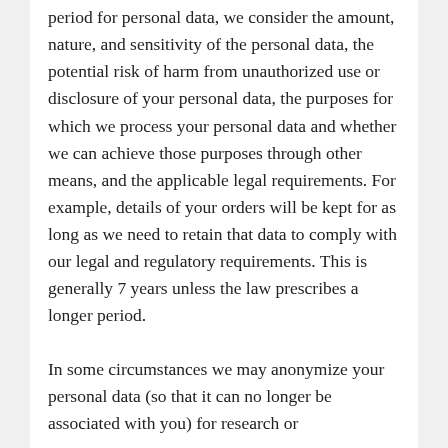period for personal data, we consider the amount, nature, and sensitivity of the personal data, the potential risk of harm from unauthorized use or disclosure of your personal data, the purposes for which we process your personal data and whether we can achieve those purposes through other means, and the applicable legal requirements. For example, details of your orders will be kept for as long as we need to retain that data to comply with our legal and regulatory requirements. This is generally 7 years unless the law prescribes a longer period.
In some circumstances we may anonymize your personal data (so that it can no longer be associated with you) for research or